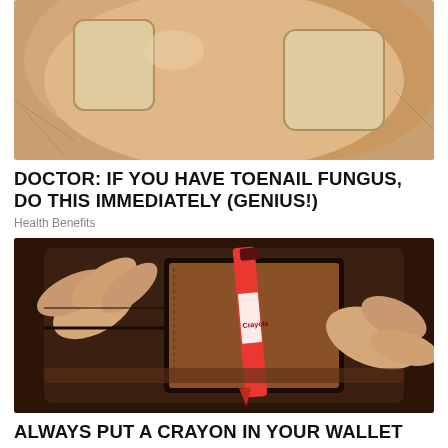[Figure (photo): Close-up photo of toenails with fungus, showing discolored and thickened nails on a hand or foot]
DOCTOR: IF YOU HAVE TOENAIL FUNGUS, DO THIS IMMEDIATELY (GENIUS!)
Health Benefits
[Figure (photo): Hands placing a red Crayola crayon into a brown leather wallet]
ALWAYS PUT A CRAYON IN YOUR WALLET WHEN